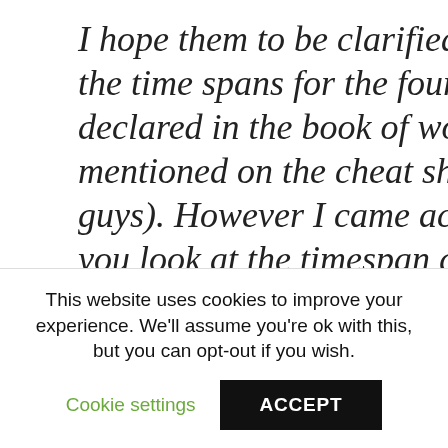I hope them to be clarified by the group. I tried to compare the time spans for the four elemental posisms, as they are declared in the book of works, with the time spans which are mentioned on the cheat sheet (which is actually a great help guys). However I came across a difficulty there, namely if you look at the timespan given for the air posism e.g.: Book of work says 35 days in summarum, although the cheat sheet mentions the time span from 21.09. until 20.10. for air and earth. Which time span information is now the correct one? The one from the Book of works or the cheat sheet? Or is
This website uses cookies to improve your experience. We'll assume you're ok with this, but you can opt-out if you wish.